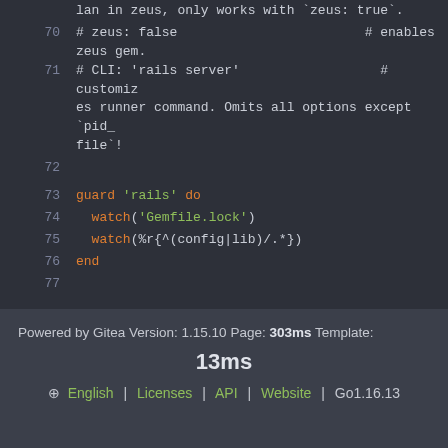[Figure (screenshot): Code editor screenshot showing lines 70-77 of a Guardfile with syntax highlighting. Line 70: # zeus: false  # enables zeus gem. Line 71: # CLI: 'rails server'  # customizes runner command. Omits all options except `pid_file`! Line 72: (blank). Line 73: guard 'rails' do. Line 74:   watch('Gemfile.lock'). Line 75:   watch(%r{^(config|lib)/.*}). Line 76: end. Line 77: (blank).]
Powered by Gitea Version: 1.15.10 Page: 303ms Template: 13ms | English | Licenses | API | Website | Go1.16.13